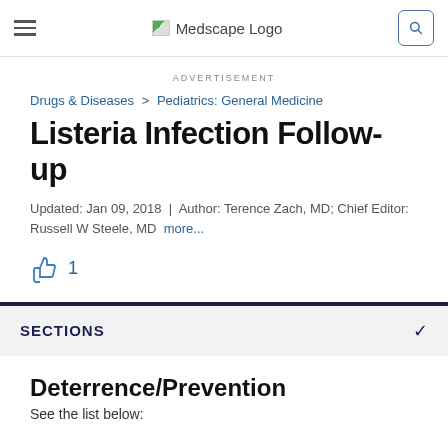Medscape Logo
ADVERTISEMENT
Drugs & Diseases > Pediatrics: General Medicine
Listeria Infection Follow-up
Updated: Jan 09, 2018 | Author: Terence Zach, MD; Chief Editor: Russell W Steele, MD more...
1
SECTIONS
Deterrence/Prevention
See the list below: